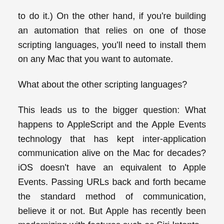to do it.) On the other hand, if you're building an automation that relies on one of those scripting languages, you'll need to install them on any Mac that you want to automate.
What about the other scripting languages?
This leads us to the bigger question: What happens to AppleScript and the Apple Events technology that has kept inter-application communication alive on the Mac for decades? iOS doesn't have an equivalent to Apple Events. Passing URLs back and forth became the standard method of communication, believe it or not. But Apple has recently been modernizing with features such as Siri Intents.
The truth is, most automation on iOS has been about